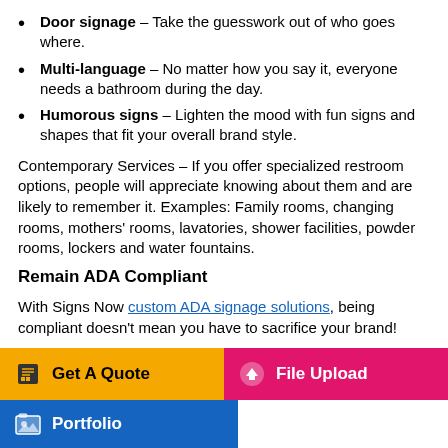Door signage – Take the guesswork out of who goes where.
Multi-language – No matter how you say it, everyone needs a bathroom during the day.
Humorous signs – Lighten the mood with fun signs and shapes that fit your overall brand style.
Contemporary Services – If you offer specialized restroom options, people will appreciate knowing about them and are likely to remember it. Examples: Family rooms, changing rooms, mothers' rooms, lavatories, shower facilities, powder rooms, lockers and water fountains.
Remain ADA Compliant
With Signs Now custom ADA signage solutions, being compliant doesn't mean you have to sacrifice your brand!
[Figure (infographic): Bottom navigation bar with three buttons: Get A Quote (yellow), File Upload (pink/magenta), Portfolio (blue)]